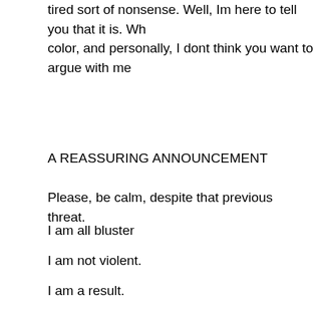tired sort of nonsense. Well, Im here to tell you that it is. Wh color, and personally, I dont think you want to argue with me
A REASSURING ANNOUNCEMENT
Please, be calm, despite that previous threat.
I am all bluster
I am not violent.
I am a result.